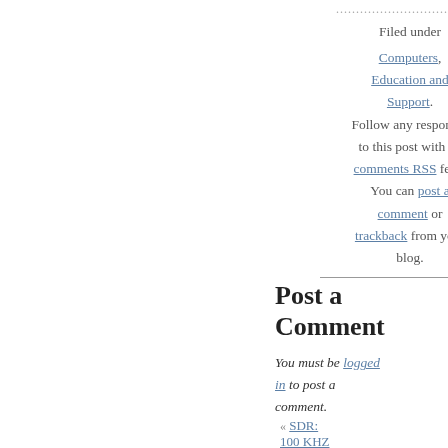..................................
Filed under
Computers, Education and Support.
Follow any responses to this post with its comments RSS feed. You can post a comment or trackback from your blog.
Post a Comment
You must be logged in to post a comment.
« SDR: 100 KHZ    SMD? SOLDERING